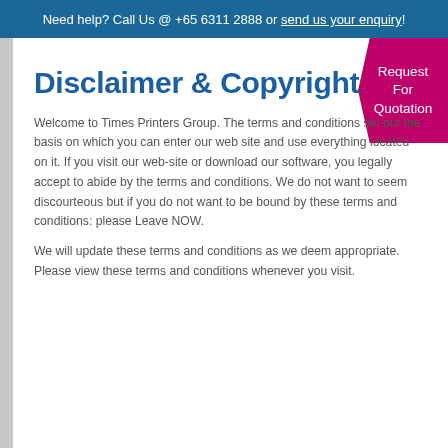Need help? Call Us @ +65 6311 2888 or send us your enquiry!
[Figure (other): Magenta tab in top-right corner reading 'Request For Quotation']
Disclaimer & Copyright
Welcome to Times Printers Group. The terms and conditions set out the basis on which you can enter our web site and use everything located on it. If you visit our web-site or download our software, you legally accept to abide by the terms and conditions. We do not want to seem discourteous but if you do not want to be bound by these terms and conditions: please Leave NOW.
We will update these terms and conditions as we deem appropriate. Please view these terms and conditions whenever you visit.